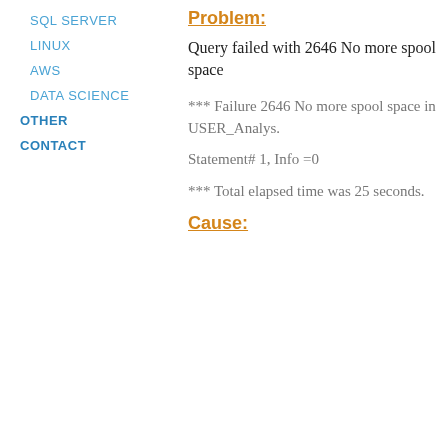SQL SERVER
LINUX
AWS
DATA SCIENCE
OTHER
CONTACT
Problem:
Query failed with 2646 No more spool space
*** Failure 2646 No more spool space in USER_Analys.
Statement# 1, Info =0
*** Total elapsed time was 25 seconds.
Cause: